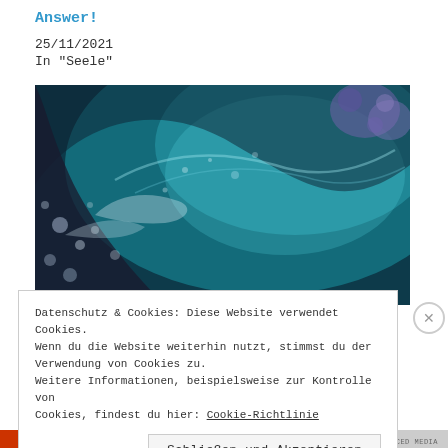Answer!
25/11/2021
In "Seele"
[Figure (photo): Underwater ocean wave photograph showing turquoise/teal water with bubbles and dark rocky or coral formations on the left side, taken from below the surface.]
Datenschutz & Cookies: Diese Website verwendet Cookies. Wenn du die Website weiterhin nutzt, stimmst du der Verwendung von Cookies zu. Weitere Informationen, beispielsweise zur Kontrolle von Cookies, findest du hier: Cookie-Richtlinie
Schließen und Akzeptieren